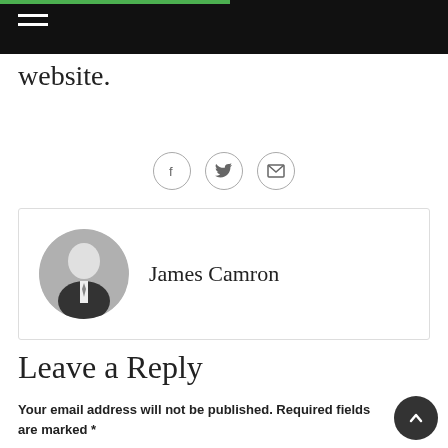website.
[Figure (other): Three social sharing icons in circles: Facebook (f), Twitter (bird), Email (envelope)]
[Figure (other): Author card with circular black-and-white portrait photo of James Camron in a suit]
James Camron
Leave a Reply
Your email address will not be published. Required fields are marked *